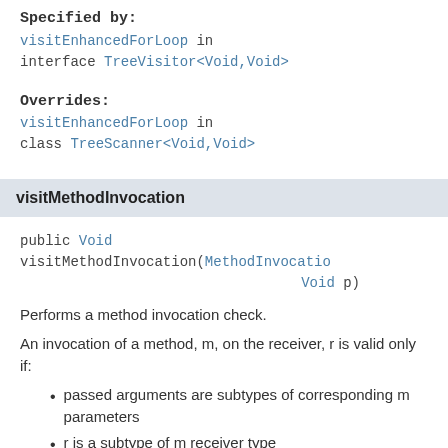Specified by: visitEnhancedForLoop in interface TreeVisitor<Void,Void>
Overrides: visitEnhancedForLoop in class TreeScanner<Void,Void>
visitMethodInvocation
public Void visitMethodInvocation(MethodInvocation Void p)
Performs a method invocation check.
An invocation of a method, m, on the receiver, r is valid only if:
passed arguments are subtypes of corresponding m parameters
r is a subtype of m receiver type
if m is generic, passed type arguments are subtypes of m type variables